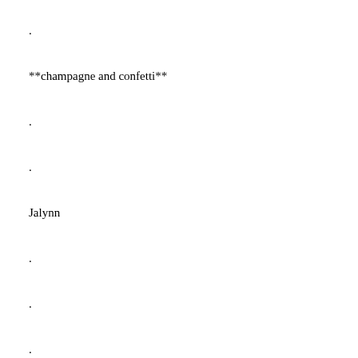.
**champagne and confetti**
.
.
Jalynn
.
.
.
.
P.S.: I'm sorry for slacking on my posts, I will be better